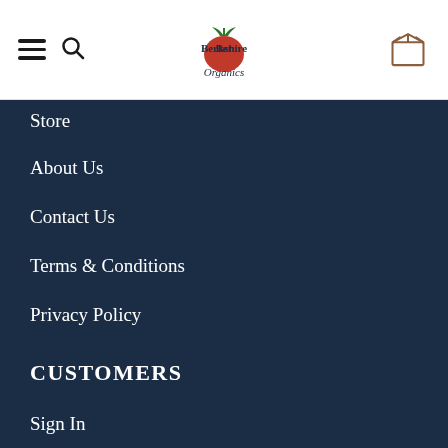Berkshire Organics
Store
About Us
Contact Us
Terms & Conditions
Privacy Policy
CUSTOMERS
Sign In
View Order
How It Works
Buy a gift card!